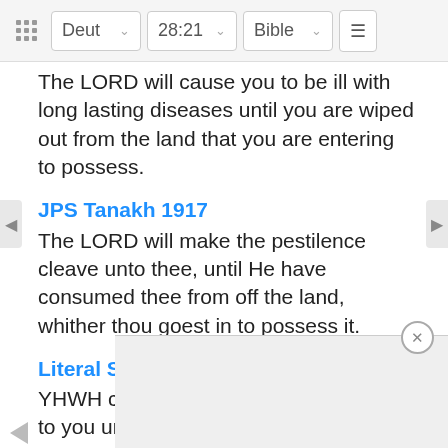Deut 28:21 Bible
The LORD will cause you to be ill with long lasting diseases until you are wiped out from the land that you are entering to possess.
JPS Tanakh 1917
The LORD will make the pestilence cleave unto thee, until He have consumed thee from off the land, whither thou goest in to possess it.
Literal Standard Version
YHWH causes the pestilence to cleave to you until He consumes you from off the ground to where you are going in to possess it.
New American Bible
The LORD will make disease cling to you until he has made an end of you from the land you are entering
NET